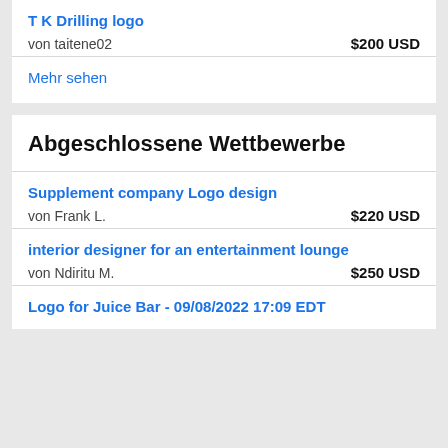T K Drilling logo
von taitene02   $200 USD
Mehr sehen
Abgeschlossene Wettbewerbe
Supplement company Logo design
von Frank L.   $220 USD
interior designer for an entertainment lounge
von Ndiritu M.   $250 USD
Logo for Juice Bar - 09/08/2022 17:09 EDT